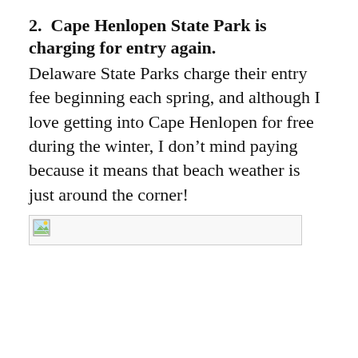2.  Cape Henlopen State Park is charging for entry again.
Delaware State Parks charge their entry fee beginning each spring, and although I love getting into Cape Henlopen for free during the winter, I don’t mind paying because it means that beach weather is just around the corner!
[Figure (photo): Broken image placeholder (image failed to load)]